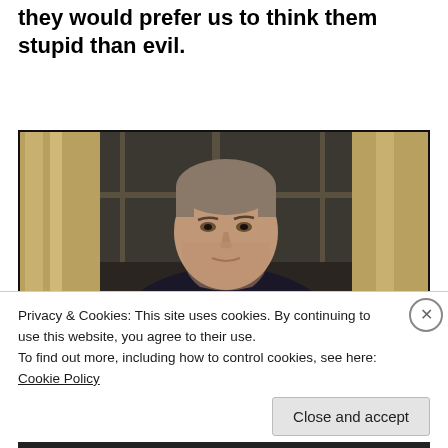they would prefer us to think them stupid than evil.
[Figure (photo): A photograph of Ronald Reagan speaking, shown from the chest up, seated in front of windows with curtains visible in the background.]
Privacy & Cookies: This site uses cookies. By continuing to use this website, you agree to their use.
To find out more, including how to control cookies, see here: Cookie Policy
Close and accept